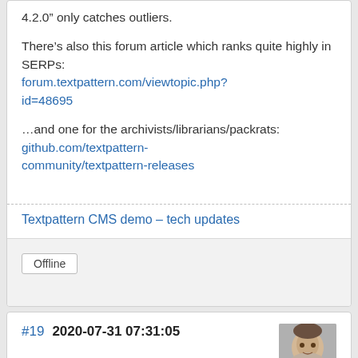4.2.0” only catches outliers.
There’s also this forum article which ranks quite highly in SERPs: forum.textpattern.com/viewtopic.php?id=48695
…and one for the archivists/librarians/packrats: github.com/textpattern-community/textpattern-releases
Textpattern CMS demo – tech updates
Offline
#19  2020-07-31 07:31:05